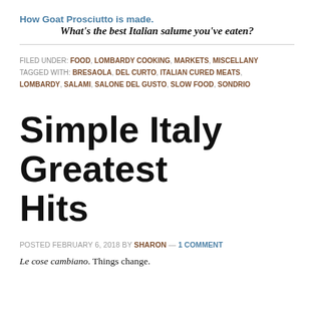How Goat Prosciutto is made.
What's the best Italian salume you've eaten?
FILED UNDER: FOOD, LOMBARDY COOKING, MARKETS, MISCELLANY TAGGED WITH: BRESAOLA, DEL CURTO, ITALIAN CURED MEATS, LOMBARDY, SALAMI, SALONE DEL GUSTO, SLOW FOOD, SONDRIO
Simple Italy Greatest Hits
POSTED FEBRUARY 6, 2018 BY SHARON — 1 COMMENT
Le cose cambiano. Things change.